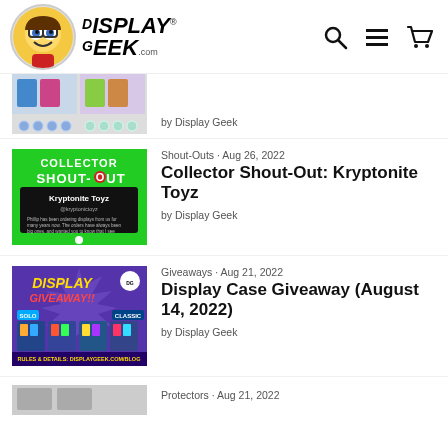Display Geek .com
[Figure (screenshot): Partial product listing thumbnail showing Funko Pop display cases with color dot swatches below]
by Display Geek
[Figure (screenshot): Green promotional image for Collector Shout-Out featuring Kryptonite Toyz with black text box]
Shout-Outs · Aug 26, 2022
Collector Shout-Out: Kryptonite Toyz
by Display Geek
[Figure (screenshot): Purple banner for Display Giveaway with Funko Pop display cases showing Solo and Classic options]
Giveaways · Aug 21, 2022
Display Case Giveaway (August 14, 2022)
by Display Geek
Protectors · Aug 21, 2022